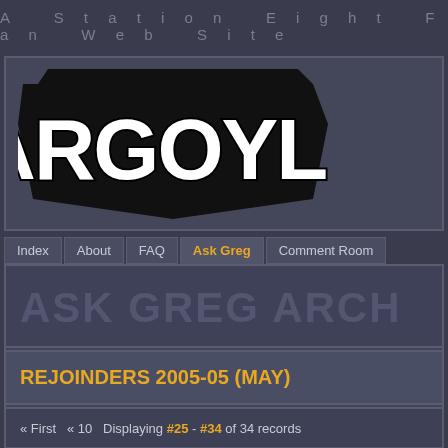A Station Eight Fan Web Site
[Figure (logo): Gargoyles logo — white block letters with thick black outline on dark polygonal badge shape]
Index | About | FAQ | Ask Greg | Comment Room
ASK GREG ARCH
REJOINDERS 2005-05 (MAY)
« First  « 10  Displaying #25 - #34 of 34 records